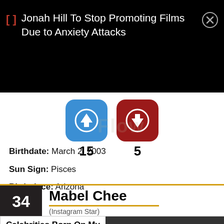Jonah Hill To Stop Promoting Films Due to Anxiety Attacks
[Figure (infographic): Up vote button (blue, 15) and down vote button (dark red, 5) with counts below]
Birthdate: March 2, 2003
Sun Sign: Pisces
Birthplace: Arizona
34 Mabel Chee (Instagram Star)
Celebrities Born On My Birthday? Enter Your DOB GO